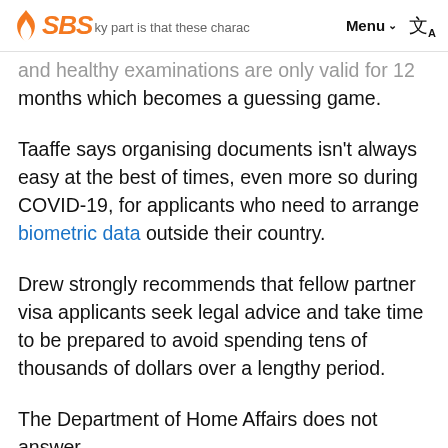SBS — Menu
ky part is that these charac…cate and healthy examinations are only valid for 12 months which becomes a guessing game.
Taaffe says organising documents isn't always easy at the best of times, even more so during COVID-19, for applicants who need to arrange biometric data outside their country.
Drew strongly recommends that fellow partner visa applicants seek legal advice and take time to be prepared to avoid spending tens of thousands of dollars over a lengthy period.
The Department of Home Affairs does not answer questions on partner visa applications that are…